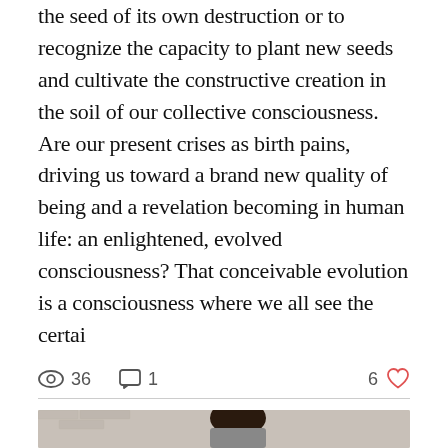the seed of its own destruction or to recognize the capacity to plant new seeds and cultivate the constructive creation in the soil of our collective consciousness. Are our present crises as birth pains, driving us toward a brand new quality of being and a revelation becoming in human life: an enlightened, evolved consciousness? That conceivable evolution is a consciousness where we all see the certai
36 views  1 comment  6 likes
[Figure (photo): A man with a shaved head, dark skin, resting his hand near his face, wearing a white t-shirt, seated against a white brick wall background.]